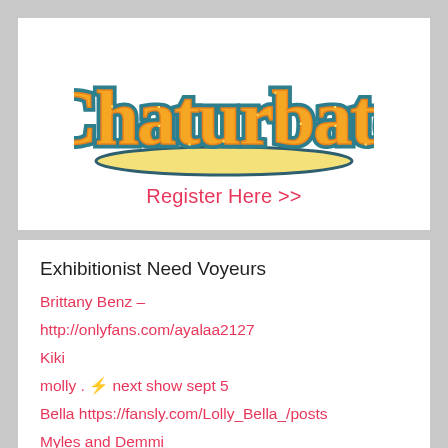[Figure (logo): Chaturbate logo with orange and yellow stylized text on teal outline, with a tan/cream underline swoosh]
Register Here >>
Exhibitionist Need Voyeurs
Brittany Benz –
http://onlyfans.com/ayalaa2127
Kiki
molly . ⚡ next show sept 5
Bella https://fansly.com/Lolly_Bella_/posts
Myles and Demmi